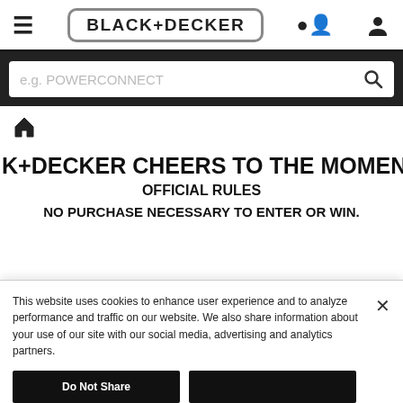[Figure (logo): BLACK+DECKER logo in rounded rectangle border, with hamburger menu icon on left and user/person icon on right — website navigation bar]
[Figure (screenshot): Search bar with placeholder text 'e.g. POWERCONNECT' and magnifying glass icon on dark background]
[Figure (illustration): Home/house icon for breadcrumb navigation]
K+DECKER CHEERS TO THE MOMENT GIVE
OFFICIAL RULES
NO PURCHASE NECESSARY TO ENTER OR WIN.
This website uses cookies to enhance user experience and to analyze performance and traffic on our website. We also share information about your use of our site with our social media, advertising and analytics partners.